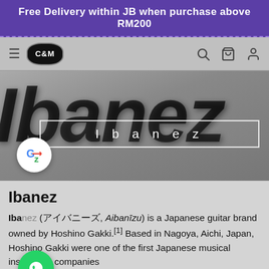Free Delivery within JB when purchase above RM200
[Figure (screenshot): C&M store logo navigation bar with hamburger menu, oval C&M logo, search icon, cart icon, and user icon]
[Figure (photo): Ibanez brand hero image with large italic Ibanez text in black on grey background, search box overlay showing 'Ibanez', and Google Translate button]
Ibanez
Ibanez (アイバニーズ, Aibanīzu) is a Japanese guitar brand owned by Hoshino Gakki.[1] Based in Nagoya, Aichi, Japan, Hoshino Gakki were one of the first Japanese musical instrument companies